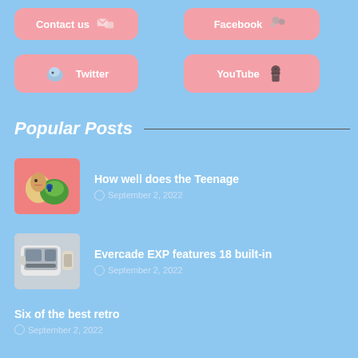[Figure (illustration): Contact us button with envelope icon on pink background]
[Figure (illustration): Facebook button with grey social icon on pink background]
[Figure (illustration): Twitter button with blue bird icon on pink background]
[Figure (illustration): YouTube button with ninja character on pink background]
Popular Posts
[Figure (illustration): Thumbnail of TMNT anime artwork - character hugging a turtle]
How well does the Teenage
September 2, 2022
[Figure (illustration): Thumbnail of Evercade EXP handheld gaming device]
Evercade EXP features 18 built-in
September 2, 2022
Six of the best retro
September 2, 2022